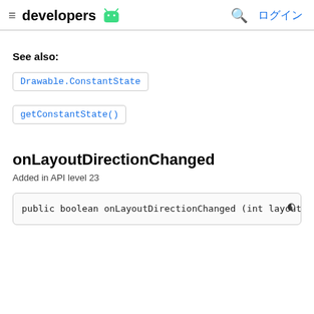≡ developers 🤖  🔍 ログイン
See also:
Drawable.ConstantState
getConstantState()
onLayoutDirectionChanged
Added in API level 23
public boolean onLayoutDirectionChanged (int layoutD